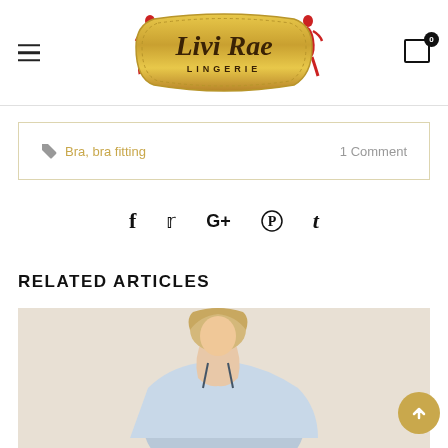Livi Rae Lingerie — logo header with hamburger menu and cart icon
Bra, bra fitting  |  1 Comment
[Figure (infographic): Social media share icons: Facebook (f), Twitter (bird/t), Google+ (G+), Pinterest (P), Tumblr (t)]
RELATED ARTICLES
[Figure (photo): Woman in light blue lingerie/camisole top, blonde hair, photographed from shoulders up side angle]